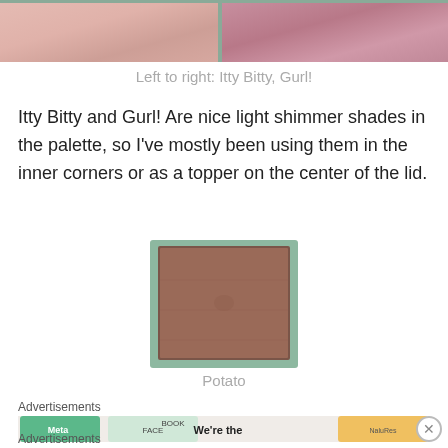[Figure (photo): Two eyeshadow pans side by side: left pan is a light pink shimmer, right pan is a deeper pink/mauve shimmer, partially cropped at top of page]
Left to right: Itty Bitty, Gurl!
Itty Bitty and Gurl! Are nice light shimmer shades in the palette, so I've mostly been using them in the inner corners or as a topper on the center of the lid.
[Figure (photo): Single eyeshadow pan with a matte medium brown shade called Potato, in a mint/sage green compact]
Potato
Advertisements
[Figure (photo): Advertisement banner showing Meta, Facebook, and other brand cards with text 'We're the']
Advertisements